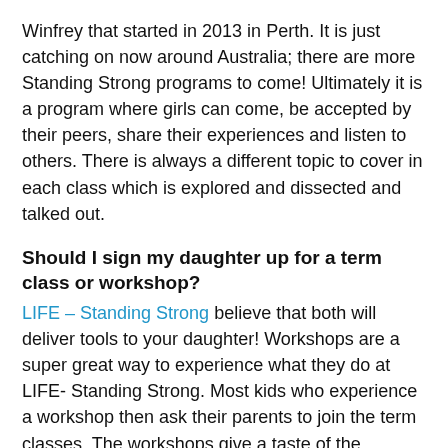Winfrey that started in 2013 in Perth. It is just catching on now around Australia; there are more Standing Strong programs to come! Ultimately it is a program where girls can come, be accepted by their peers, share their experiences and listen to others. There is always a different topic to cover in each class which is explored and dissected and talked out.
Should I sign my daughter up for a term class or workshop?
LIFE – Standing Strong believe that both will deliver tools to your daughter! Workshops are a super great way to experience what they do at LIFE- Standing Strong. Most kids who experience a workshop then ask their parents to join the term classes. The workshops give a taste of the program where several STRONG Mind topics are covered and incorporate exercise and mindfulness.
The term classes are where girls do a lot of work on